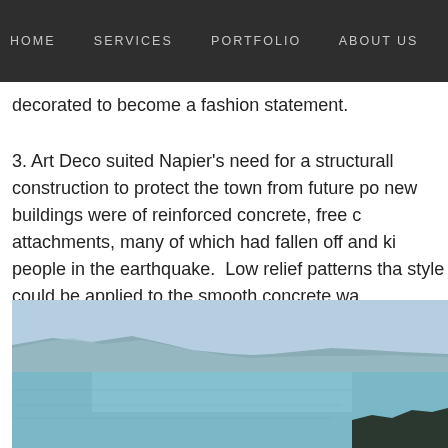HOME   SERVICES   PORTFOLIO   ABOUT US   D
decorated to become a fashion statement.
3. Art Deco suited Napier's need for a structurally construction to protect the town from future po new buildings were of reinforced concrete, free c attachments, many of which had fallen off and ki people in the earthquake.  Low relief patterns tha style could be applied to the smooth concrete wa
[Figure (photo): Panoramic landscape photo showing a calm lake or bay with mountains and hills in the background under a pale blue sky, with some trees or vegetation visible at the far right edge.]